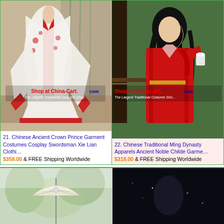[Figure (photo): Chinese Ancient Crown Prince white and red hanfu garment costume with floral embroidery, displayed on mannequin in traditional setting with bamboo painting backdrop. Watermark: Shop at China-Cart.com]
21. Chinese Ancient Crown Prince Garment Costumes Cosplay Swordsman Xie Lian Clothi…
$359.00 & FREE Shipping Worldwide
[Figure (photo): Chinese Traditional Ming Dynasty red hanfu robe worn by woman with long black hair, standing near window with greenery background. Watermark: Shop at China-Cart.com]
22. Chinese Traditional Ming Dynasty Apparels Ancient Noble Childe Garme…
$319.00 & FREE Shipping Worldwide
[Figure (photo): Partial view of traditional Chinese costume with parasol umbrella, light tones, outdoor setting]
[Figure (photo): Dark/night scene partial product photo]